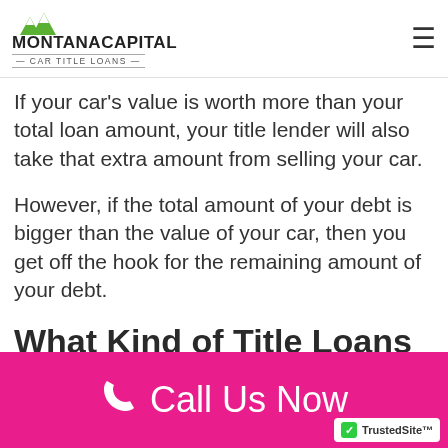Montana Capital Car Title Loans
If your car’s value is worth more than your total loan amount, your title lender will also take that extra amount from selling your car.
However, if the total amount of your debt is bigger than the value of your car, then you get off the hook for the remaining amount of your debt.
What Kind of Title Loans
[Figure (other): Pink call-to-action bar at the bottom: phone icon and text 'Call Us Now' in white on magenta/pink background, with TrustedSite badge in lower right corner]